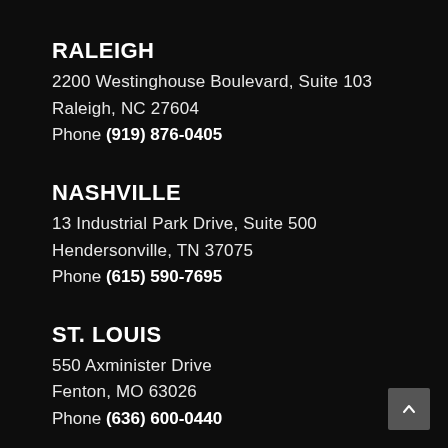RALEIGH
2200 Westinghouse Boulevard, Suite 103
Raleigh, NC 27604
Phone (919) 876-0405
NASHVILLE
13 Industrial Park Drive, Suite 500
Hendersonville, TN 37075
Phone (615) 590-7695
ST. LOUIS
550 Axminister Drive
Fenton, MO 63026
Phone (636) 600-0440